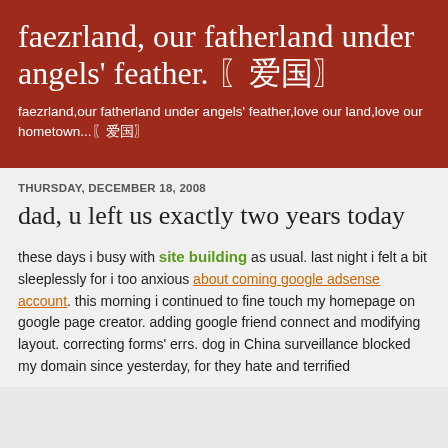faezrland, our fatherland under angels' feather. 〖爱国〗
faezrland,our fatherland under angels' feather,love our land,love our hometown...〖爱国〗
THURSDAY, DECEMBER 18, 2008
dad, u left us exactly two years today
these days i busy with site building as usual. last night i felt a bit sleeplessly for i too anxious about coming google adsense account. this morning i continued to fine touch my homepage on google page creator. adding google friend connect and modifying layout. correcting forms' errs. dog in China surveillance blocked my domain since yesterday, for they hate and terrified